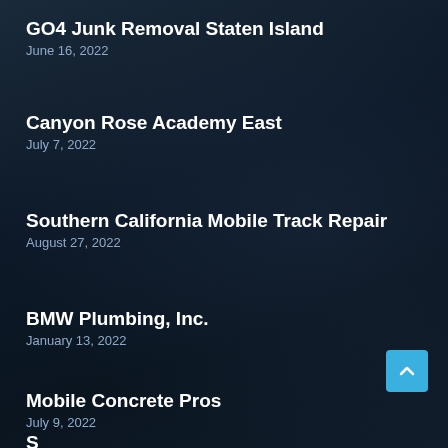GO4 Junk Removal Staten Island
June 16, 2022
Canyon Rose Academy East
July 7, 2022
Southern California Mobile Track Repair
August 27, 2022
BMW Plumbing, Inc.
January 13, 2022
Mobile Concrete Pros
July 9, 2022
S… (partially visible)